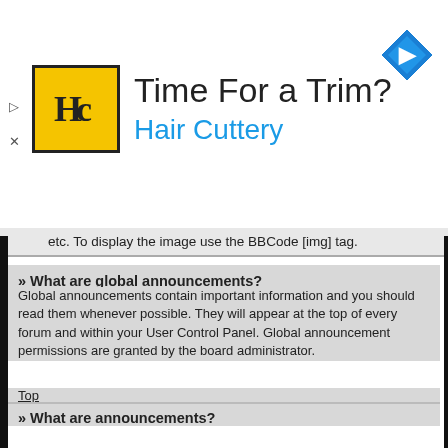[Figure (illustration): Hair Cuttery advertisement banner with logo, 'Time For a Trim?' headline, 'Hair Cuttery' subheading in blue, and a blue navigation diamond icon on the right.]
etc. To display the image use the BBCode [img] tag.
» What are global announcements?
Global announcements contain important information and you should read them whenever possible. They will appear at the top of every forum and within your User Control Panel. Global announcement permissions are granted by the board administrator.
Top
» What are announcements?
Announcements often contain important information for the forum you are currently reading and you should read them whenever possible. Announcements appear at the top of every page in the forum to which they are posted. As with global announcements, announcement permissions are granted by the board administrator.
Top
» What are sticky topics?
Sticky topics within the forum appear below announcements and only on the first page. They are often quite important so you should